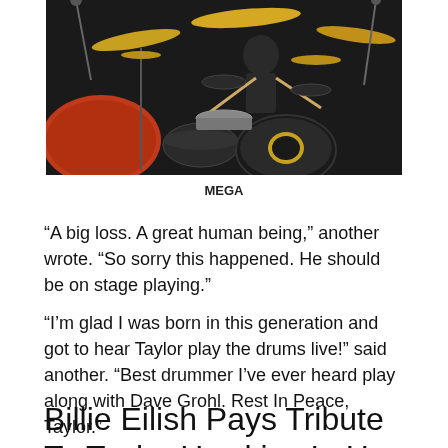[Figure (photo): A drummer performing behind a large drum kit on stage, with cymbals visible and red/dark drum shells in the foreground.]
MEGA
“A big loss. A great human being,” another wrote. “So sorry this happened. He should be on stage playing.”
“I’m glad I was born in this generation and got to hear Taylor play the drums live!” said another. “Best drummer I’ve ever heard play along with Dave Grohl. Rest In Peace, Taylor.”
Billie Eilish Pays Tribute To Taylor Hawkins In Her ‘Happier Than